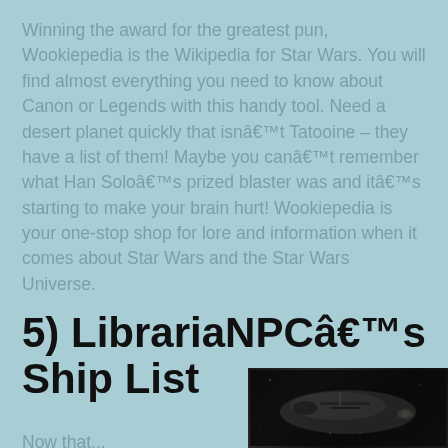Winning the award for the greatest pun, Wookiepedia is the Wikipedia for Star Wars. You will find almost everything you need to know about Canon or Legends with this handy tool. Need a desert planet quickly that isnâ€™t Tatooine – they have a list of them! Maybe you canâ€™t remember what Han Soloâ€™s prized blaster was and itâ€™s starting to make your brain hurt! Wookiepedia is your one-stop shop for lore and information when it comes about Star Wars and the Star Wars Universe.
5) LibrariaNPCâ€™s Ship List
[Figure (photo): Dark image of a Star Wars spaceship, appears to be the Millennium Falcon or similar spacecraft against a dark background]
Now that...